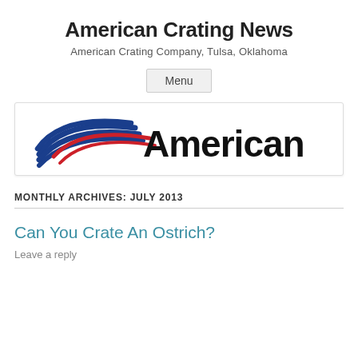American Crating News
American Crating Company, Tulsa, Oklahoma
Menu
[Figure (logo): American Airlines logo with stylized red and blue stripes and the word 'American' in black]
MONTHLY ARCHIVES: JULY 2013
Can You Crate An Ostrich?
Leave a reply